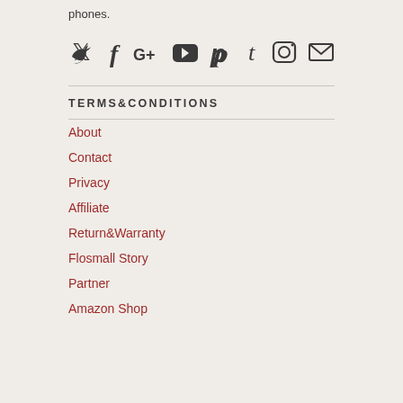phones.
[Figure (infographic): Row of social media icons: Twitter, Facebook, Google+, YouTube, Pinterest, Tumblr, Instagram, Email]
TERMS&CONDITIONS
About
Contact
Privacy
Affiliate
Return&Warranty
Flosmall Story
Partner
Amazon Shop